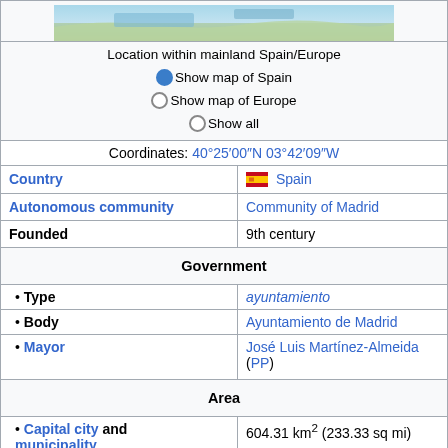[Figure (map): Map showing location within mainland Spain/Europe]
Location within mainland Spain/Europe
● Show map of Spain
○ Show map of Europe
○ Show all
Coordinates: 40°25′00″N 03°42′09″W
| Country | 🇪🇸 Spain |
| Autonomous community | Community of Madrid |
| Founded | 9th century |
| Government |  |
| • Type | ayuntamiento |
| • Body | Ayuntamiento de Madrid |
| • Mayor | José Luis Martínez-Almeida (PP) |
| Area |  |
| • Capital city and municipality | 604.31 km² (233.33 sq mi) |
| Elevation | 650 m (2,130 ft) |
| Population (2018)[3] |  |
| • Capital city and municipality | 3,223,334 |